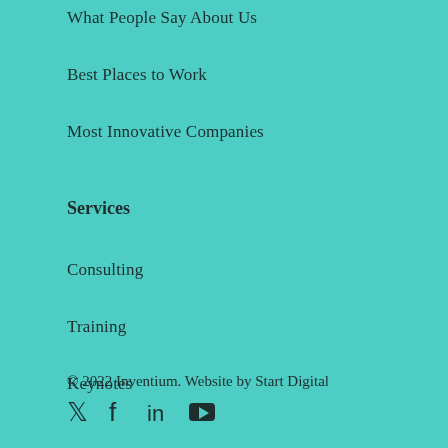What People Say About Us
Best Places to Work
Most Innovative Companies
Services
Consulting
Training
Keynotes
© 2022 Inventium. Website by Start Digital